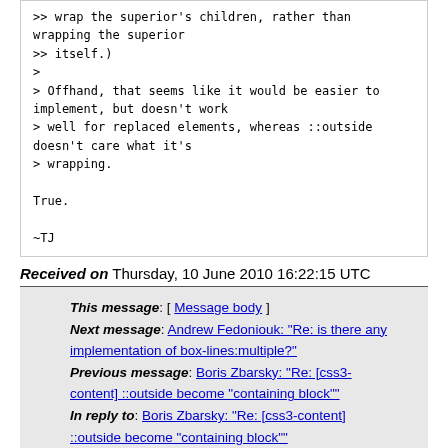>> wrap the superior's children, rather than wrapping the superior
>> itself.)
>
> Offhand, that seems like it would be easier to implement, but doesn't work
> well for replaced elements, whereas ::outside doesn't care what it's
> wrapping.

True.

~TJ
Received on Thursday, 10 June 2010 16:22:15 UTC
This message: [ Message body ]
Next message: Andrew Fedoniouk: "Re: is there any implementation of box-lines:multiple?"
Previous message: Boris Zbarsky: "Re: [css3-content] ::outside become "containing block""
In reply to: Boris Zbarsky: "Re: [css3-content] ::outside become "containing block""
Next in thread: Paul Duffin: "Re: [css3-content] ::outside become "containing block""